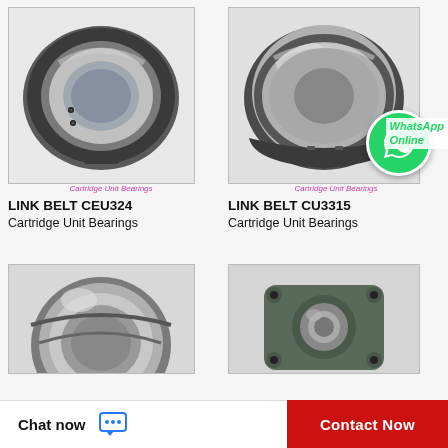[Figure (photo): LINK BELT CEU324 Cartridge Unit Bearing - round ball bearing insert, dark metal housing, silver inner ring]
Cartridge Unit Bearings
LINK BELT CEU324
Cartridge Unit Bearings
[Figure (photo): LINK BELT CU3315 Cartridge Unit Bearing - spherical plain bearing, silver metallic finish with groove details. WhatsApp Online overlay visible.]
Cartridge Unit Bearings
LINK BELT CU3315
Cartridge Unit Bearings
[Figure (photo): Partial view of a Cartridge Unit Bearing, round silver bearing with dark ring]
[Figure (photo): Partial view of a 4-bolt flange unit bearing, dark green/grey cast housing with center bearing]
Chat now
Contact Now